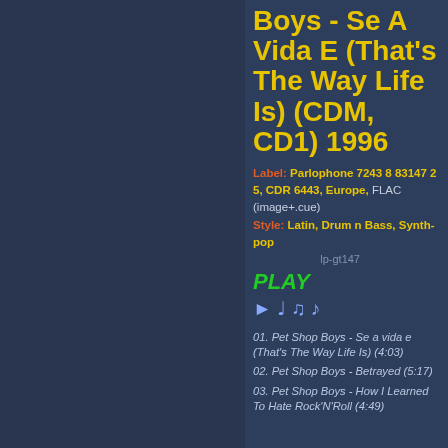Boys - Se A Vida E (That's The Way Life Is) (CDM, CD1) 1996
Label: Parlophone 7243 8 83147 2 5, CDR 6443, Europe, FLAC (image+.cue)
Style: Latin, Drum n Bass, Synth-pop
lp-gt147
PLAY
► ♩♫♪
01. Pet Shop Boys - Se a vida e (That's The Way Life Is) (4:03)
02. Pet Shop Boys - Betrayed (5:17)
03. Pet Shop Boys - How I Learned To Hate Rock'N'Roll (4:49)